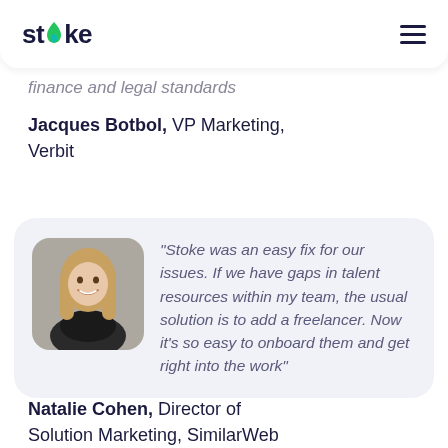stoke
finance and legal standards
Jacques Botbol, VP Marketing, Verbit
[Figure (photo): Headshot of Natalie Cohen, a woman with long blonde hair, smiling, with a blurred office background]
"Stoke was an easy fix for our issues. If we have gaps in talent resources within my team, the usual solution is to add a freelancer. Now it's so easy to onboard them and get right into the work"
Natalie Cohen, Director of Solution Marketing, SimilarWeb